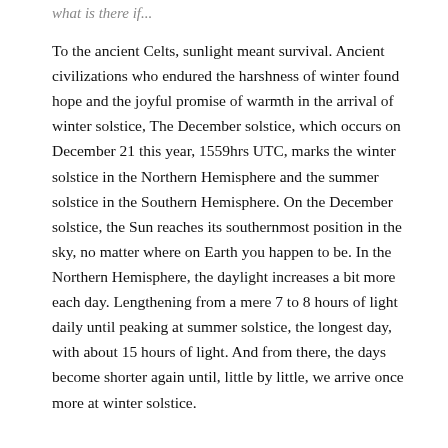what is there if...
To the ancient Celts, sunlight meant survival. Ancient civilizations who endured the harshness of winter found hope and the joyful promise of warmth in the arrival of winter solstice, The December solstice, which occurs on December 21 this year, 1559hrs UTC, marks the winter solstice in the Northern Hemisphere and the summer solstice in the Southern Hemisphere. On the December solstice, the Sun reaches its southernmost position in the sky, no matter where on Earth you happen to be. In the Northern Hemisphere, the daylight increases a bit more each day. Lengthening from a mere 7 to 8 hours of light daily until peaking at summer solstice, the longest day, with about 15 hours of light. And from there, the days become shorter again until, little by little, we arrive once more at winter solstice.